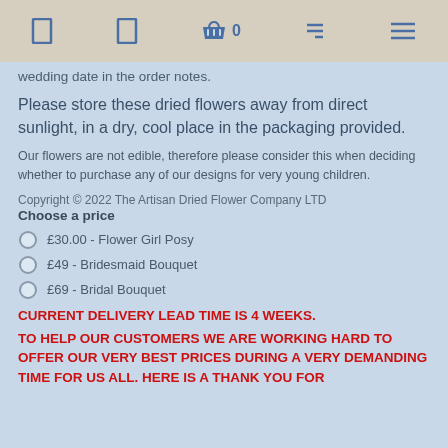navigation bar with icons and basket (0)
wedding date in the order notes.
Please store these dried flowers away from direct sunlight, in a dry, cool place in the packaging provided.
Our flowers are not edible, therefore please consider this when deciding whether to purchase any of our designs for very young children.
Copyright © 2022 The Artisan Dried Flower Company LTD
Choose a price
£30.00 - Flower Girl Posy
£49 - Bridesmaid Bouquet
£69 - Bridal Bouquet
CURRENT DELIVERY LEAD TIME IS 4 WEEKS.
TO HELP OUR CUSTOMERS WE ARE WORKING HARD TO OFFER OUR VERY BEST PRICES DURING A VERY DEMANDING TIME FOR US ALL. HERE IS A THANK YOU FOR